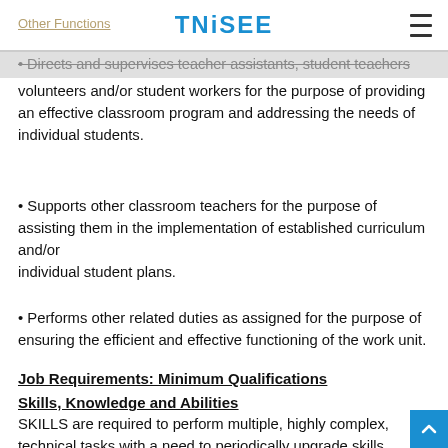Other Functions  TNiSEE
• Directs and supervises teacher assistants, student teachers, volunteers and/or student workers for the purpose of providing an effective classroom program and addressing the needs of individual students.
• Supports other classroom teachers for the purpose of assisting them in the implementation of established curriculum and/or individual student plans.
• Performs other related duties as assigned for the purpose of ensuring the efficient and effective functioning of the work unit.
Job Requirements: Minimum Qualifications
Skills, Knowledge and Abilities
SKILLS are required to perform multiple, highly complex, technical tasks with a need to periodically upgrade skills in order to